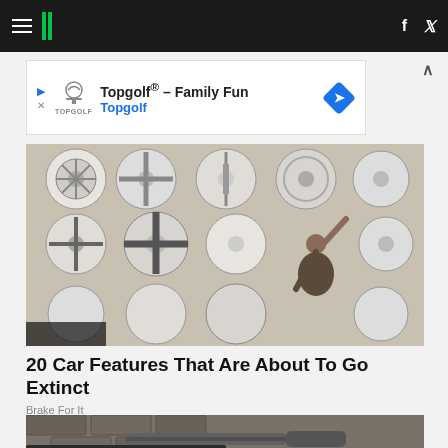HuffPost navigation with hamburger menu, logo, Facebook and Twitter icons
[Figure (screenshot): Advertisement banner for Topgolf: 'Topgolf® – Family Fun' with Topgolf logo and blue diamond navigation icon]
[Figure (photo): A person reaching up to select from a wall covered in various car hubcaps/wheel covers mounted on a pegboard]
20 Car Features That Are About To Go Extinct
Brake For It
[Figure (photo): Partial view of a military or industrial vehicle with gun barrel or pipe visible, against a stone building backdrop]